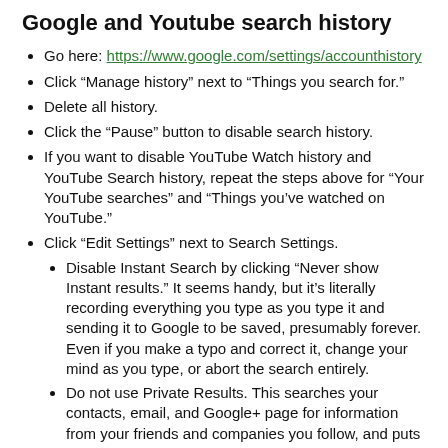Google and Youtube search history
Go here: https://www.google.com/settings/accounthistory
Click “Manage history” next to “Things you search for.”
Delete all history.
Click the “Pause” button to disable search history.
If you want to disable YouTube Watch history and YouTube Search history, repeat the steps above for “Your YouTube searches” and “Things you’ve watched on YouTube.”
Click “Edit Settings” next to Search Settings.
Disable Instant Search by clicking “Never show Instant results.” It seems handy, but it’s literally recording everything you type as you type it and sending it to Google to be saved, presumably forever. Even if you make a typo and correct it, change your mind as you type, or abort the search entirely.
Do not use Private Results. This searches your contacts, email, and Google+ page for information from your friends and companies you follow, and puts that in your Google Search results. For me that’s less of a security...